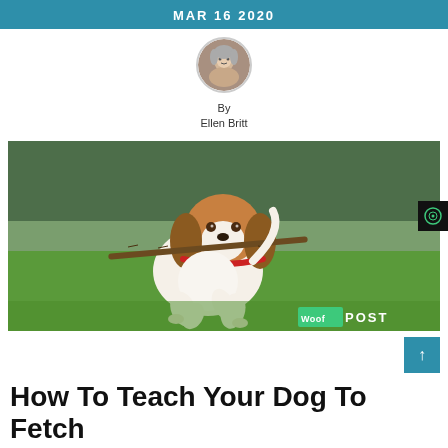MAR 16 2020
[Figure (photo): Circular avatar photo of author Ellen Britt, an older woman with gray hair]
By
Ellen Britt
[Figure (photo): A beagle dog running through a green field carrying a stick in its mouth, with a red collar. Woof Post logo visible in bottom right corner.]
How To Teach Your Dog To Fetch